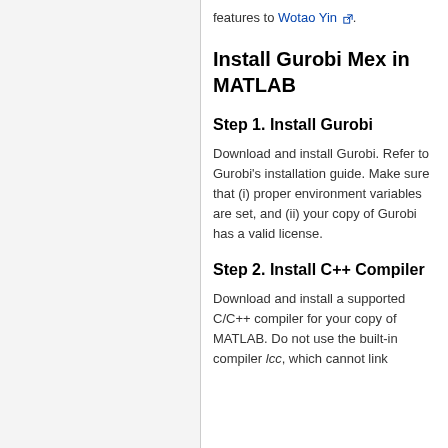features to Wotao Yin.
Install Gurobi Mex in MATLAB
Step 1. Install Gurobi
Download and install Gurobi. Refer to Gurobi's installation guide. Make sure that (i) proper environment variables are set, and (ii) your copy of Gurobi has a valid license.
Step 2. Install C++ Compiler
Download and install a supported C/C++ compiler for your copy of MATLAB. Do not use the built-in compiler lcc, which cannot link